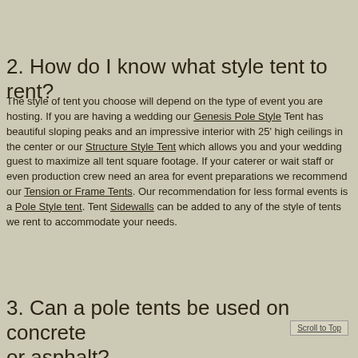2. How do I know what style tent to rent?
The style of tent you choose will depend on the type of event you are hosting. If you are having a wedding our Genesis Pole Style Tent has beautiful sloping peaks and an impressive interior with 25' high ceilings in the center or our Structure Style Tent which allows you and your wedding guest to maximize all tent square footage. If your caterer or wait staff or even production crew need an area for event preparations we recommend our Tension or Frame Tents. Our recommendation for less formal events is a Pole Style tent. Tent Sidewalls can be added to any of the style of tents we rent to accommodate your needs.
3. Can a pole tents be used on concrete or asphalt?